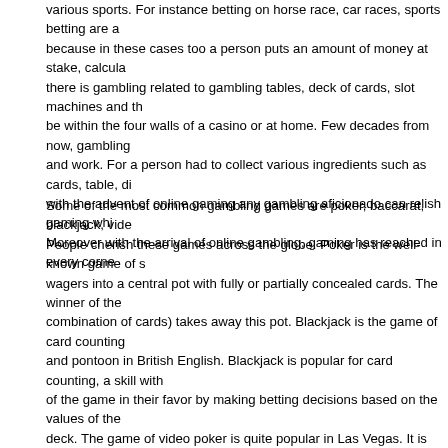various sports. For instance betting on horse race, car races, sports betting are a because in these cases too a person puts an amount of money at stake, calcula there is gambling related to gambling tables, deck of cards, slot machines and th be within the four walls of a casino or at home. Few decades from now, gambling and work. For a person had to collect various ingredients such as cards, table, di with the advent of online gaming any gambling aficionado can relish gaming whi Moreover with the arrival of online gambling, gaming has reached in every corne
Some of the most common gambling games are poker, baccarat, blackjack, vide People cherish these games across the globe. Poker is the well-known game of s wagers into a central pot with fully or partially concealed cards. The winner of the combination of cards) takes away this pot. Blackjack is the game of card counting and pontoon in British English. Blackjack is popular for card counting, a skill with of the game in their favor by making betting decisions based on the values of the deck. The game of video poker is quite popular in Las Vegas. It is played by plac and by inserting money into the machine. After this the 'deal' button is to be press player gets a chance to hold or reject one or more of the cards in exchange for a player from the same virtual deck. This is followed by a machine evaluation of the one of the winning hands in the posted pay schedule the machine offers a payou
All these games have different rules and regulations. Prior to playing any game it its rules first. Internet is a good way to know about these moneymaking games. it every game.
Though gambling is also a good source of revenue yet is proclaimed illicit in mos legalized only at few places such as Las Vegas. However all the players should b only. Its addiction can be disastrous to the concerned person as well as his entire